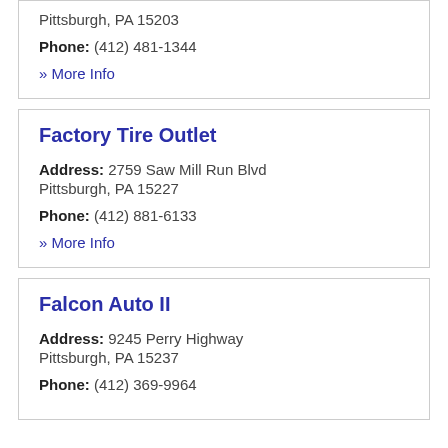Pittsburgh, PA 15203
Phone: (412) 481-1344
» More Info
Factory Tire Outlet
Address: 2759 Saw Mill Run Blvd Pittsburgh, PA 15227
Phone: (412) 881-6133
» More Info
Falcon Auto II
Address: 9245 Perry Highway Pittsburgh, PA 15237
Phone: (412) 369-9964